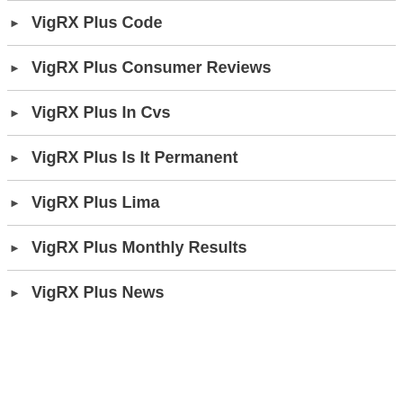VigRX Plus Code
VigRX Plus Consumer Reviews
VigRX Plus In Cvs
VigRX Plus Is It Permanent
VigRX Plus Lima
VigRX Plus Monthly Results
VigRX Plus News